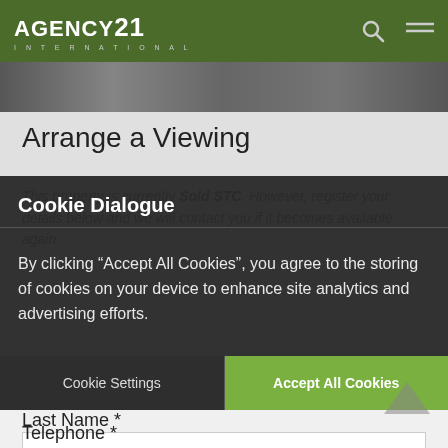AGENCY21 INTERNATIONAL
[Figure (screenshot): Hero image strip showing a property photo, partially visible]
Arrange a Viewing
This property is currently Sold STC. However, register your details below and we will contact you if it becomes available again.
Cookie Dialogue
By clicking “Accept All Cookies”, you agree to the storing of cookies on your device to enhance site analytics and advertising efforts.
Cookie Settings
Accept All Cookies
Last Name *
Telephone *